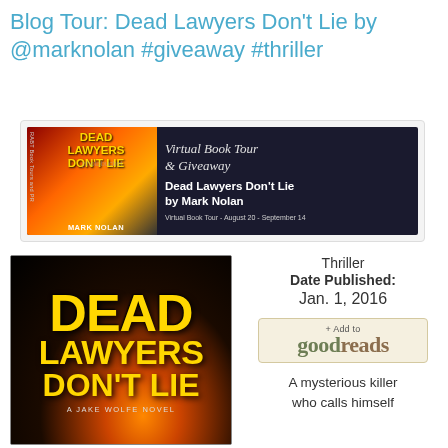Blog Tour: Dead Lawyers Don't Lie by @marknolan #giveaway #thriller
[Figure (illustration): Virtual Book Tour banner for Dead Lawyers Don't Lie by Mark Nolan. Dark background with book cover on left and 'Virtual Book Tour & Giveaway' text on right. Virtual Book Tour - August 20 - September 14.]
[Figure (illustration): Book cover for Dead Lawyers Don't Lie - A Jake Wolfe Novel by Mark Nolan. Dark background with golden city lights and bold gold text.]
Thriller
Date Published: Jan. 1, 2016
[Figure (logo): + Add to goodreads button]
A mysterious killer who calls himself